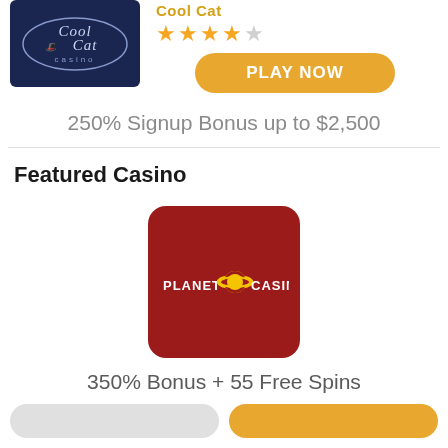[Figure (logo): Cool Cat Casino logo on dark navy background]
Cool Cat
[Figure (other): 4.5 star rating with 4 filled gold stars and 1 grey star]
PLAY NOW
250% Signup Bonus up to $2,500
Featured Casino
[Figure (logo): Planet 7 Casino logo on dark red rounded square background]
350% Bonus + 55 Free Spins